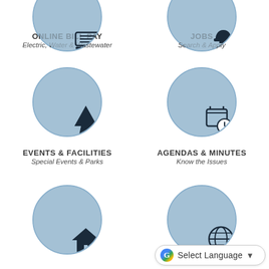[Figure (illustration): Circular icon with blue tinted photo background and laptop/keyboard illustration, partially cropped at top]
[Figure (illustration): Circular icon with blue tinted photo background and construction worker illustration, partially cropped at top]
ONLINE BILL PAY
Electric, Water & Wastewater
JOBS
Search & Apply
[Figure (illustration): Circular icon with blue tinted photo of crowd/parks and pine tree icon overlay]
[Figure (illustration): Circular icon with blue tinted photo of planning documents and calendar/clock icon overlay]
EVENTS & FACILITIES
Special Events & Parks
AGENDAS & MINUTES
Know the Issues
[Figure (illustration): Circular icon with blue tinted architectural/blueprint photo and house icon overlay, partially cropped at bottom]
[Figure (illustration): Circular icon with blue tinted photo and globe icon overlay, partially cropped at bottom]
Select Language